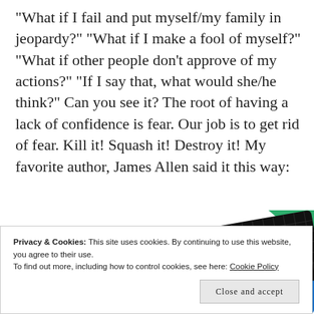“What if I fail and put myself/my family in jeopardy?” “What if I make a fool of myself?” “What if other people don’t approve of my actions?” “If I say that, what would she/he think?”  Can you see it? The root of having a lack of confidence is fear.  Our job is to get rid of fear.  Kill it!  Squash it!  Destroy it!  My favorite author, James Allen said it this way:
[Figure (screenshot): A stack of book or podcast covers, including one labeled '99% INVISIBLE' in yellow text on a dark background, partially overlapping colorful cards (blue, green, red).]
Privacy & Cookies: This site uses cookies. By continuing to use this website, you agree to their use.
To find out more, including how to control cookies, see here: Cookie Policy
Close and accept